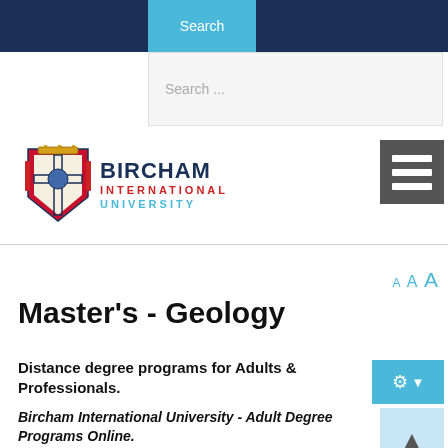Search
Search ...
[Figure (logo): Bircham International University logo with coat of arms and text BIRCHAM INTERNATIONAL UNIVERSITY]
[Figure (other): Hamburger menu icon (three horizontal lines) on dark grey background]
A A A
Master's - Geology
Distance degree programs for Adults & Professionals.
[Figure (other): Settings gear icon button with dropdown arrow on cyan/teal background]
Bircham International University - Adult Degree Programs Online.
[Figure (other): Scroll up arrow button on light blue background]